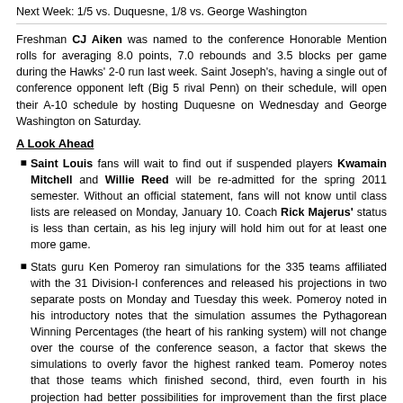Next Week: 1/5 vs. Duquesne, 1/8 vs. George Washington
Freshman CJ Aiken was named to the conference Honorable Mention rolls for averaging 8.0 points, 7.0 rebounds and 3.5 blocks per game during the Hawks' 2-0 run last week. Saint Joseph's, having a single out of conference opponent left (Big 5 rival Penn) on their schedule, will open their A-10 schedule by hosting Duquesne on Wednesday and George Washington on Saturday.
A Look Ahead
Saint Louis fans will wait to find out if suspended players Kwamain Mitchell and Willie Reed will be re-admitted for the spring 2011 semester. Without an official statement, fans will not know until class lists are released on Monday, January 10. Coach Rick Majerus' status is less than certain, as his leg injury will hold him out for at least one more game.
Stats guru Ken Pomeroy ran simulations for the 335 teams affiliated with the 31 Division-I conferences and released his projections in two separate posts on Monday and Tuesday this week. Pomeroy noted in his introductory notes that the simulation assumes the Pythagorean Winning Percentages (the heart of his ranking system) will not change over the course of the conference season, a factor that skews the simulations to overly favor the highest ranked team. Pomeroy notes that those teams which finished second, third, even fourth in his projection had better possibilities for improvement than the first place teams. Pomeroy ranked (and divided his postings) by the degree to which the conference race would be competitive. Least competitive conference races were published in Pomeroy's Monday post (part 1), while the more